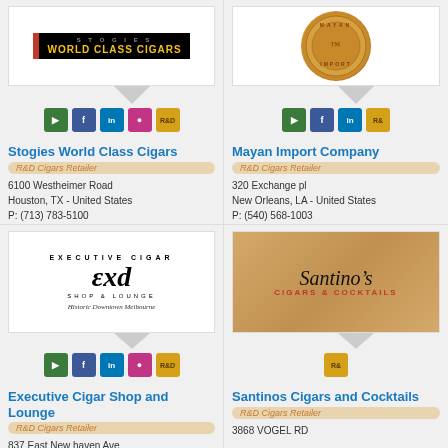[Figure (logo): Stogies World Class Cigars logo — black background with gold text]
Stogies World Class Cigars
R&D Cigars Retailer
6100 Westheimer Road
Houston, TX - United States
P: (713) 783-5100
GET DIRECTIONS
[Figure (logo): Mayan Import Company coin/medallion logo in bronze/copper tones]
Mayan Import Company
R&D Cigars Retailer
320 Exchange pl
New Orleans, LA - United States
P: (540) 568-1003
GET DIRECTIONS
[Figure (logo): Executive Cigar Shop and Lounge circular logo with EC emblem, Historic Downtown Melbourne]
Executive Cigar Shop and Lounge
R&D Cigars Retailer
837 East New haven Ave
[Figure (logo): Santinos Cigars and Cocktails logo with vintage woman illustration on wood background]
Santinos Cigars and Cocktails
R&D Cigars Retailer
3868 VOGEL RD